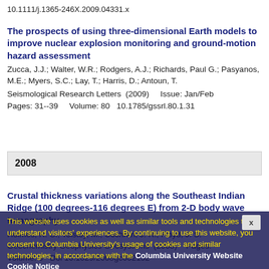10.1111/j.1365-246X.2009.04331.x
The prospects of using three-dimensional Earth models to improve nuclear explosion monitoring and ground-motion hazard assessment
Zucca, J.J.; Walter, W.R.; Rodgers, A.J.; Richards, Paul G.; Pasyanos, M.E.; Myers, S.C.; Lay, T.; Harris, D.; Antoun, T.
Seismological Research Letters  (2009)    Issue: Jan/Feb
Pages: 31--39    Volume: 80  10.1785/gssrl.80.1.31
2008
Crustal thickness variations along the Southeast Indian Ridge (100 degrees-116 degrees E) from 2-D body wave tomography
Holmes, R. C.; Tolstoy, M.; Cochran, J. R.; Floyd, J. S.
Geochemistry Geophysics Geosystems  (2008)    Pages: -
Volume: 9  Doi 10.1029/2008gc002152
This website uses cookies as well as similar tools and technologies to understand visitors' experiences. By continuing to use this website, you consent to Columbia University's usage of cookies and similar technologies, in accordance with the Columbia University Website Cookie Notice
Microbiota at a deep-sea hydrothermal vent along the East Pacific Rise